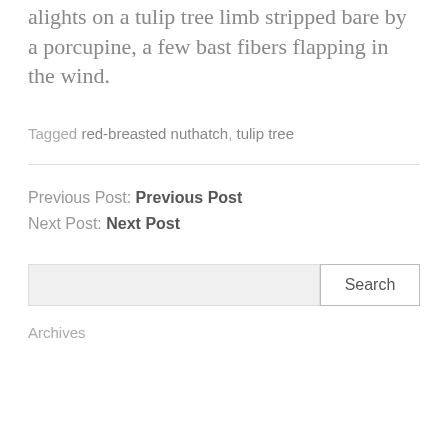alights on a tulip tree limb stripped bare by a porcupine, a few bast fibers flapping in the wind.
Tagged red-breasted nuthatch, tulip tree
Previous Post: Previous Post
Next Post: Next Post
Search